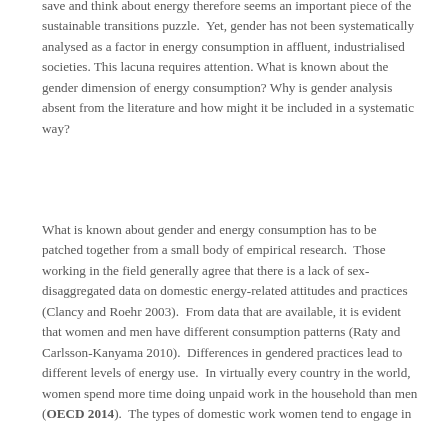save and think about energy therefore seems an important piece of the sustainable transitions puzzle. Yet, gender has not been systematically analysed as a factor in energy consumption in affluent, industrialised societies. This lacuna requires attention. What is known about the gender dimension of energy consumption? Why is gender analysis absent from the literature and how might it be included in a systematic way?
What is known about gender and energy consumption has to be patched together from a small body of empirical research. Those working in the field generally agree that there is a lack of sex-disaggregated data on domestic energy-related attitudes and practices (Clancy and Roehr 2003). From data that are available, it is evident that women and men have different consumption patterns (Raty and Carlsson-Kanyama 2010). Differences in gendered practices lead to different levels of energy use. In virtually every country in the world, women spend more time doing unpaid work in the household than men (OECD 2014). The types of domestic work women tend to engage in